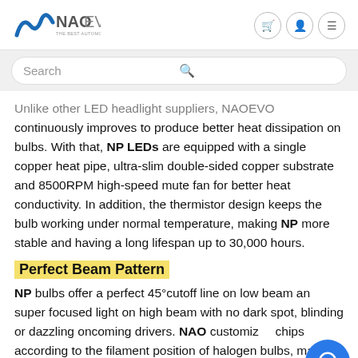NAOEVO — THE BEST AUTOMOTIVE LIGHTING MANUFACTURER
Search
Unlike other LED headlight suppliers, NAOEVO continuously improves to produce better heat dissipation on bulbs. With that, NP LEDs are equipped with a single copper heat pipe, ultra-slim double-sided copper substrate and 8500RPM high-speed mute fan for better heat conductivity. In addition, the thermistor design keeps the bulb working under normal temperature, making NP more stable and having a long lifespan up to 30,000 hours.
Perfect Beam Pattern
NP bulbs offer a perfect 45°cutoff line on low beam and super focused light on high beam with no dark spot, blinding or dazzling oncoming drivers. NAO customizes chips according to the filament position of halogen bulbs, making those bulbs produce the standard beam like